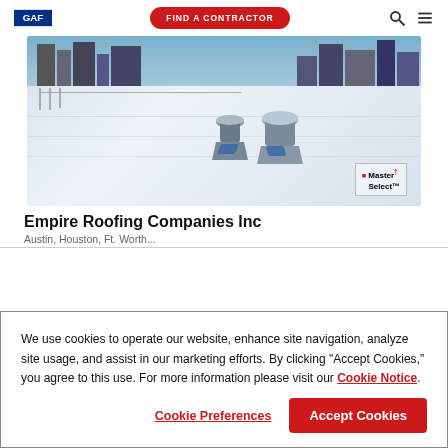GAF | FIND A CONTRACTOR
[Figure (photo): A flat commercial rooftop with white membrane roofing material, ventilation units/caps visible, city skyline in background. Master Select™ badge in lower right corner.]
Empire Roofing Companies Inc
We use cookies to operate our website, enhance site navigation, analyze site usage, and assist in our marketing efforts. By clicking "Accept Cookies," you agree to this use. For more information please visit our Cookie Notice.
Cookie Preferences | Accept Cookies